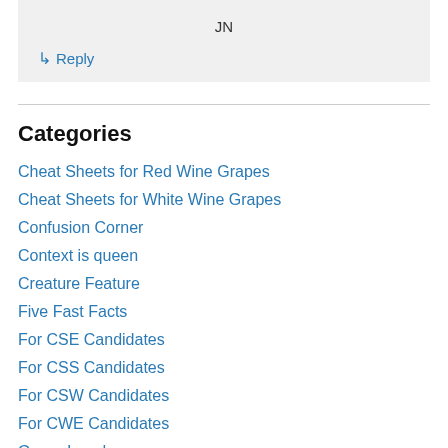JN
↳ Reply
Categories
Cheat Sheets for Red Wine Grapes
Cheat Sheets for White Wine Grapes
Confusion Corner
Context is queen
Creature Feature
Five Fast Facts
For CSE Candidates
For CSS Candidates
For CSW Candidates
For CWE Candidates
Grape Invaders